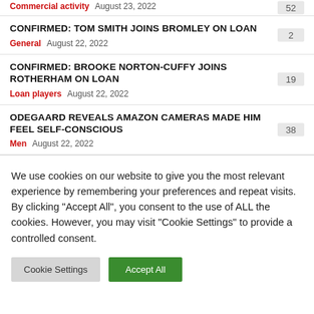Commercial activity  August 23, 2022  52
CONFIRMED: TOM SMITH JOINS BROMLEY ON LOAN
General  August 22, 2022  2
CONFIRMED: BROOKE NORTON-CUFFY JOINS ROTHERHAM ON LOAN
Loan players  August 22, 2022  19
ODEGAARD REVEALS AMAZON CAMERAS MADE HIM FEEL SELF-CONSCIOUS
Men  August 22, 2022  38
We use cookies on our website to give you the most relevant experience by remembering your preferences and repeat visits. By clicking "Accept All", you consent to the use of ALL the cookies. However, you may visit "Cookie Settings" to provide a controlled consent.
Cookie Settings  Accept All